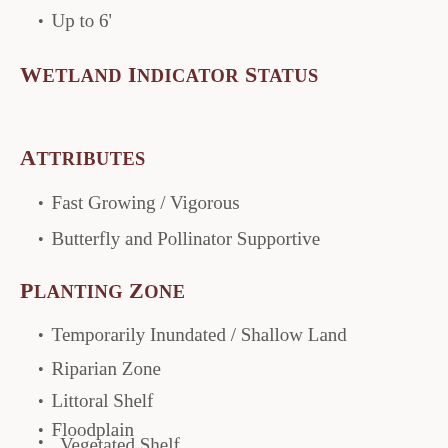Up to 6'
Wetland Indicator Status
Attributes
Fast Growing / Vigorous
Butterfly and Pollinator Supportive
Planting Zone
Temporarily Inundated / Shallow Land
Riparian Zone
Littoral Shelf
Floodplain
Vegetated Shelf